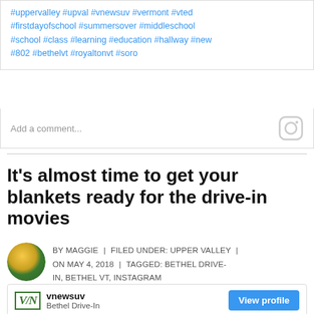#uppervalley #upval #vnewsuv #vermont #vted #firstdayofschool #summersover #middleschool #school #class #learning #education #hallway #new #802 #bethelvt #royaltonvt #soro
Add a comment...
It's almost time to get your blankets ready for the drive-in movies
BY MAGGIE | FILED UNDER: UPPER VALLEY | ON MAY 4, 2018 | TAGGED: BETHEL DRIVE-IN, BETHEL VT, INSTAGRAM
[Figure (screenshot): Instagram embed card showing vnewsuv profile with Bethel Drive-In photo and View profile button]